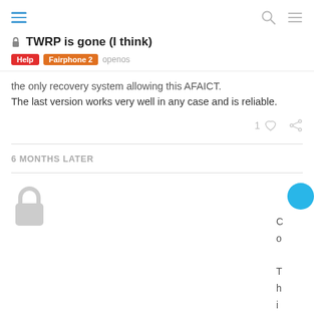TWRP is gone (I think) — Help | Fairphone 2 | openos
the only recovery system allowing this AFAICT.
The last version works very well in any case and is reliable.
6 MONTHS LATER
[Figure (other): Lock padlock icon for closed/locked thread, gray color]
T
h
i
s